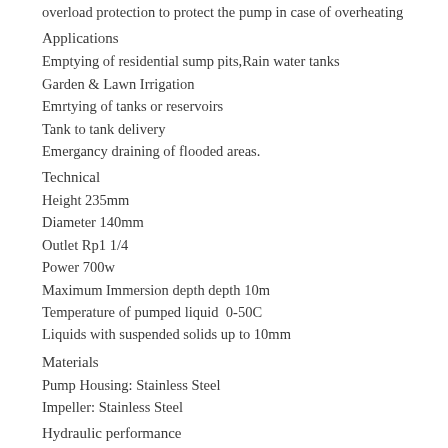overload protection to protect the pump in case of overheating
Applications
Emptying of residential sump pits,Rain water tanks
Garden & Lawn Irrigation
Emrtying of tanks or reservoirs
Tank to tank delivery
Emergancy draining of flooded areas.
Technical
Height 235mm
Diameter 140mm
Outlet Rp1 1/4
Power 700w
Maximum Immersion depth depth 10m
Temperature of pumped liquid  0-50C
Liquids with suspended solids up to 10mm
Materials
Pump Housing: Stainless Steel
Impeller: Stainless Steel
Hydraulic performance